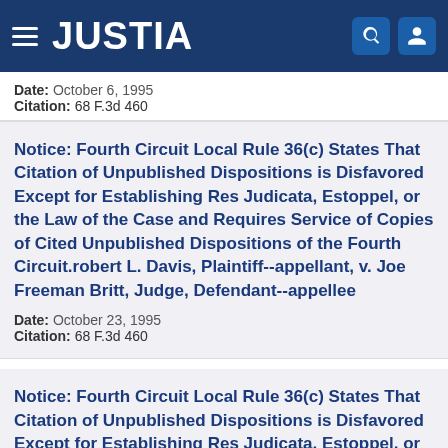JUSTIA
Date: October 6, 1995
Citation: 68 F.3d 460
Notice: Fourth Circuit Local Rule 36(c) States That Citation of Unpublished Dispositions is Disfavored Except for Establishing Res Judicata, Estoppel, or the Law of the Case and Requires Service of Copies of Cited Unpublished Dispositions of the Fourth Circuit.robert L. Davis, Plaintiff--appellant, v. Joe Freeman Britt, Judge, Defendant--appellee
Date: October 23, 1995
Citation: 68 F.3d 460
Notice: Fourth Circuit Local Rule 36(c) States That Citation of Unpublished Dispositions is Disfavored Except for Establishing Res Judicata, Estoppel, or the...